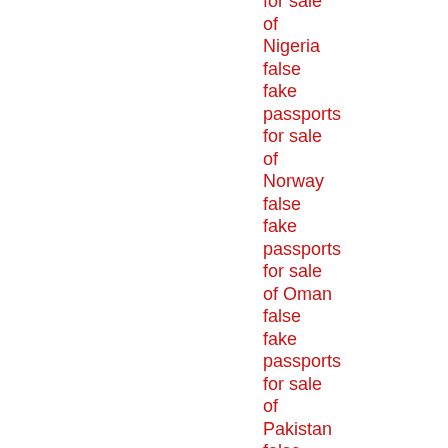for sale of Nigeria false fake passports for sale of Norway false fake passports for sale of Oman false fake passports for sale of Pakistan false fake passports for sale